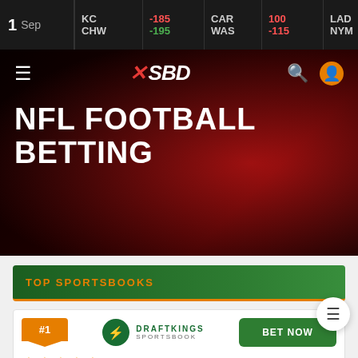1 Sep | KC -195 CHW | CAR WAS -115 | LAD NYM
[Figure (screenshot): SBD sports betting website hero banner with NFL Football Betting heading, navigation with hamburger menu, SBD logo, search and user icons. Red background with football player silhouette.]
NFL FOOTBALL BETTING
TOP SPORTSBOOKS
#1 DraftKings Sportsbook — BET NOW — 4.5 stars — Our Review
#2 Caesars Sportsbook — BET NOW